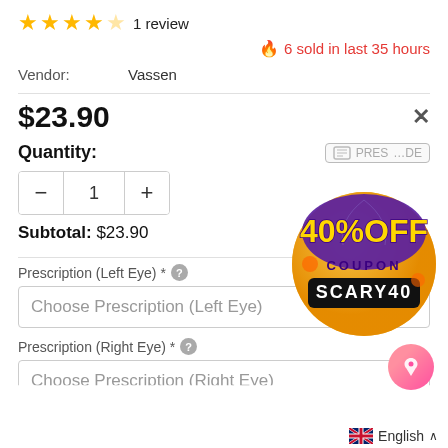★★★★☆ 1 review
🔥 6 sold in last 35 hours
Vendor: Vassen
$23.90
Quantity:
− 1 +
Subtotal: $23.90
Prescription (Left Eye) * ?
Choose Prescription (Left Eye)
Prescription (Right Eye) * ?
Choose Prescription (Right Eye)
[Figure (infographic): Halloween coupon badge: 40% OFF COUPON SCARY40 on orange/purple circular badge]
English